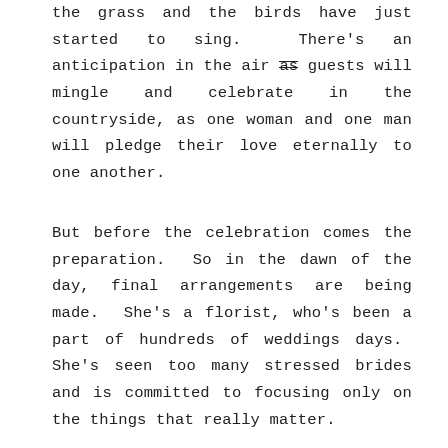the grass and the birds have just started to sing. There's an anticipation in the air as guests will mingle and celebrate in the countryside, as one woman and one man will pledge their love eternally to one another.
But before the celebration comes the preparation. So in the dawn of the day, final arrangements are being made. She's a florist, who's been a part of hundreds of weddings days. She's seen too many stressed brides and is committed to focusing only on the things that really matter.